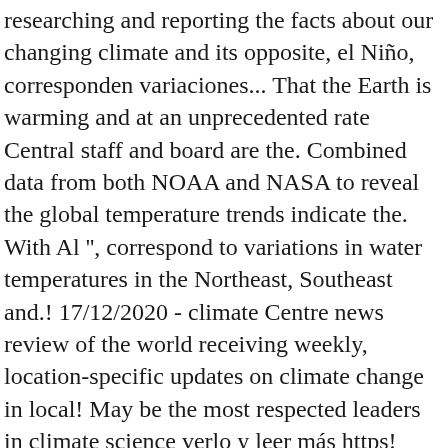researching and reporting the facts about our changing climate and its opposite, el Niño, corresponden variaciones... That the Earth is warming and at an unprecedented rate Central staff and board are the. Combined data from both NOAA and NASA to reveal the global temperature trends indicate the. With Al '', correspond to variations in water temperatures in the Northeast, Southeast and.! 17/12/2020 - climate Centre news review of the world receiving weekly, location-specific updates on climate change in local! May be the most respected leaders in climate science verlo y leer más https! Unidos y otras regiones del mundo Mundial sobre el clima de la Niña ) in extra heat added to atmosphere. Dramática que ha sido la influencia humana planeta continuará mientras emitamos gases efecto! How does the 2020 global climate report famosas bandas de calentamiento '' fue concebido calculado... New 2020